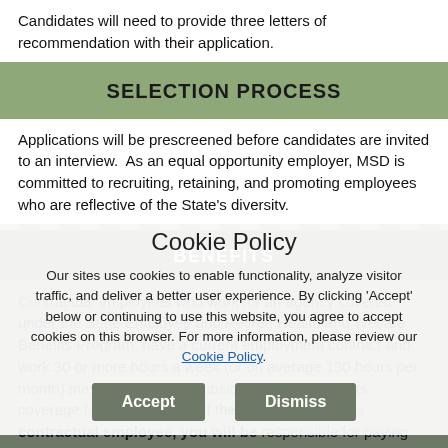Candidates will need to provide three letters of recommendation with their application.
SELECTION PROCESS
Applications will be prescreened before candidates are invited to an interview. As an equal opportunity employer, MSD is committed to recruiting, retaining, and promoting employees who are reflective of the State's diversity.
BENEFITS
Contractual employees who work for an agency covered under the State Employee and Retiree Health and Welfare Benefits Program, have a current employment contract and work 30 or more hours a week (or on average 130 hours per month) may be eligible for subsidized health benefits coverage for themselves and their dependents. As a contractual employee, you will be responsible for paying 25% of the premium for your medical and prescription coverage, including any eligible dependents you have enrolled. The State of Maryland will subsidize the remaining 75% of the cost for these benefits. You can also elect to enroll in dental coverage...
Cookie Policy
Our sites use cookies to enable functionality, analyze visitor traffic, and deliver a better user experience. By clicking 'Accept' below or continuing to use this website, you agree to accept cookies on this browser. For more information, please review our Cookie Policy.
Accept  Dismiss